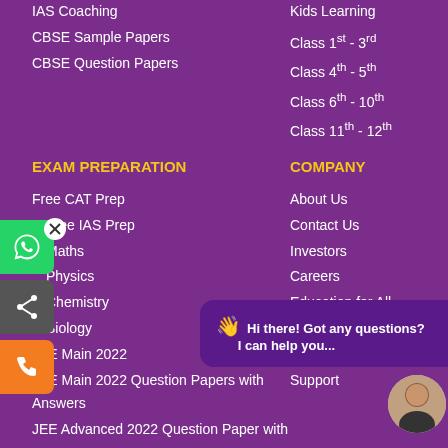IAS Coaching
CBSE Sample Papers
CBSE Question Papers
Kids Learning
Class 1st - 3rd
Class 4th - 5th
Class 6th - 10th
Class 11th - 12th
EXAM PREPARATION
COMPANY
Free CAT Prep
Free IAS Prep
Maths
Physics
Chemistry
Biology
JEE Main 2022
JEE Main 2022 Question Papers with Answers
JEE Advanced 2022 Question Paper with Answers
About Us
Contact Us
Investors
Careers
Education for All
BYJU'S APP
FAQ
Support
Hi there! Got any questions? I can help you...